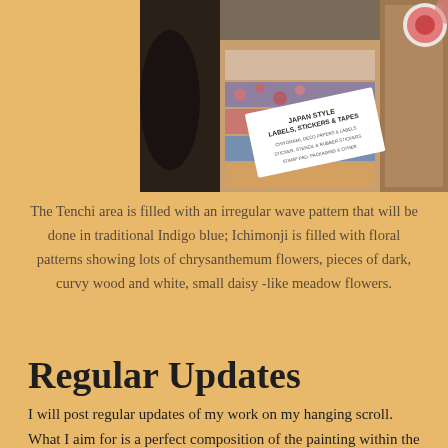[Figure (photo): Close-up photo of Japanese craft supplies including decorative papers, stickers, washi tapes, and a book titled 'Japan Style Labels, Stickers & Tapes']
The Tenchi area is filled with an irregular wave pattern that will be done in traditional Indigo blue; Ichimonji is filled with floral patterns showing lots of chrysanthemum flowers, pieces of dark, curvy wood and white, small daisy -like meadow flowers.
Regular Updates
I will post regular updates of my work on my hanging scroll. What I aim for is a perfect composition of the painting within the Ichimonji (border), Chûmawashi (another decorative border), and for Tenchi (the background border). I am glad to know these names now